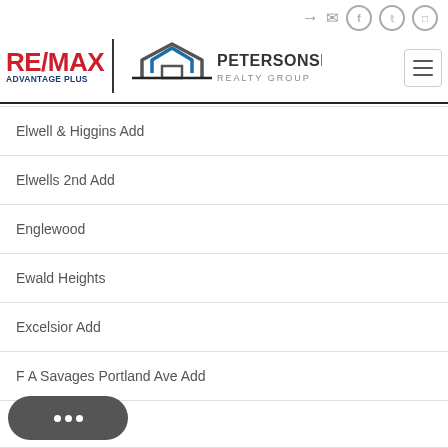[Figure (logo): RE/MAX Advantage Plus and Peterson Skattum Realty Group logo with navigation icons]
Elwell & Higgins Add
Elwells 2nd Add
Englewood
Ewald Heights
Excelsior Add
F A Savages Portland Ave Add
…ark Add